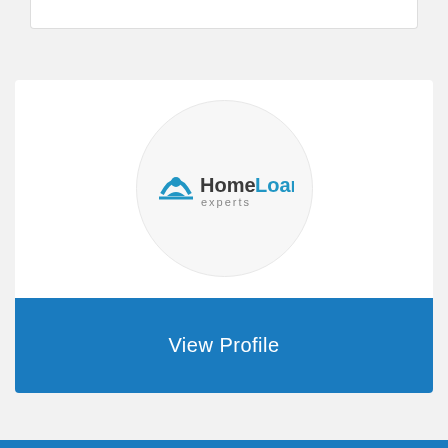[Figure (logo): Home Loan Experts company logo inside a circular white background. Features a blue house/person icon and the text 'Home' in dark gray and 'Loan' in blue, with 'experts' in smaller gray text below.]
Home Loan Experts
View Profile